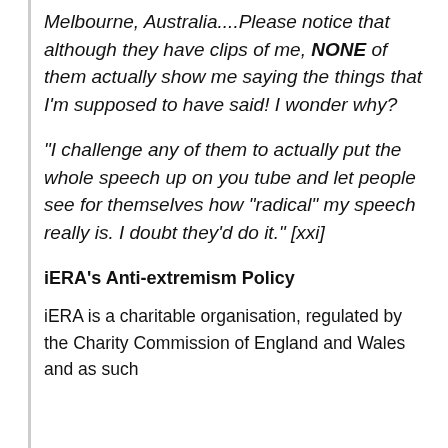Melbourne, Australia....Please notice that although they have clips of me, NONE of them actually show me saying the things that I'm supposed to have said! I wonder why?

"I challenge any of them to actually put the whole speech up on you tube and let people see for themselves how "radical" my speech really is. I doubt they'd do it." [xxi]
iERA's Anti-extremism Policy
iERA is a charitable organisation, regulated by the Charity Commission of England and Wales and as such